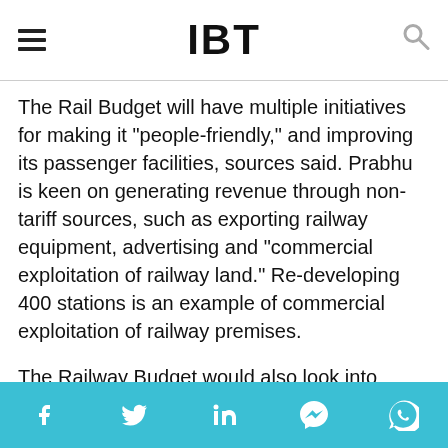IBT
The Rail Budget will have multiple initiatives for making it "people-friendly," and improving its passenger facilities, sources said. Prabhu is keen on generating revenue through non-tariff sources, such as exporting railway equipment, advertising and "commercial exploitation of railway land." Re-developing 400 stations is an example of commercial exploitation of railway premises.
The Railway Budget would also look into increasing investments in the infrastructural development area.
Social share bar: Facebook, Twitter, LinkedIn, Messenger, WhatsApp